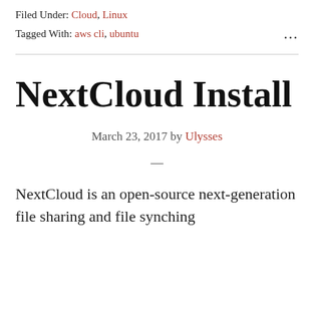Filed Under: Cloud, Linux
Tagged With: aws cli, ubuntu
NextCloud Install
March 23, 2017 by Ulysses
—
NextCloud is an open-source next-generation file sharing and file synching